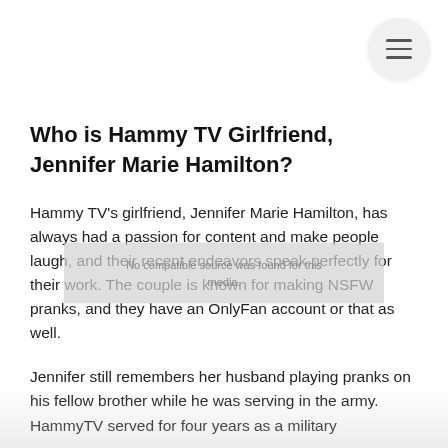[Figure (other): Hamburger menu button icon inside a circular gray button in the top-right corner]
Who is Hammy TV Girlfriend, Jennifer Marie Hamilton?
Hammy TV’s girlfriend, Jennifer Marie Hamilton, has always had a passion for content and make people laugh, and their recent endeavors speak perfectly for their work. The couple is known for making NSFW pranks, and they have an OnlyFan account or that as well.
Jennifer still remembers her husband playing pranks on his fellow brother while he was serving in the army. HammyTV served for four years as a military